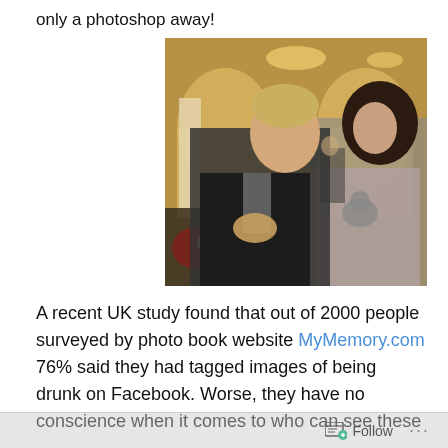only a photoshop away!
[Figure (photo): A young man in a dark suit and a woman in a strapless patterned dress standing together at what appears to be a formal event. The background shows arched brick walls with warm lighting and guests in the background.]
A recent UK study found that out of 2000 people surveyed by photo book website MyMemory.com 76% said they had tagged images of being drunk on Facebook. Worse, they have no conscience when it comes to who can see these
Follow ...